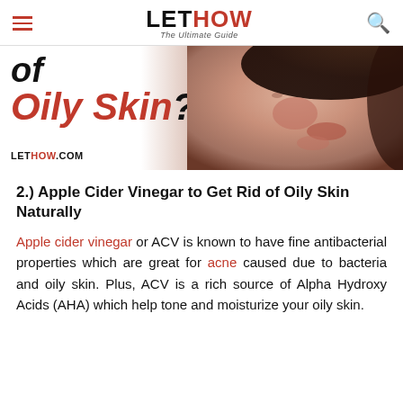LET HOW – The Ultimate Guide
[Figure (photo): Partial hero image showing text 'of Oily Skin?' in bold italic with a close-up photo of a woman's face on the right, and 'LETHOW.COM' watermark at bottom left]
2.) Apple Cider Vinegar to Get Rid of Oily Skin Naturally
Apple cider vinegar or ACV is known to have fine antibacterial properties which are great for acne caused due to bacteria and oily skin. Plus, ACV is a rich source of Alpha Hydroxy Acids (AHA) which help tone and moisturize your oily skin.